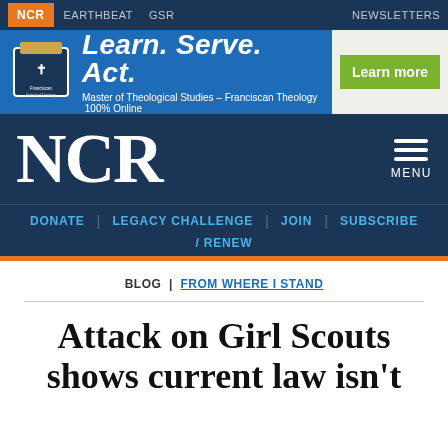NCR  EARTHBEAT  GSR  NEWSLETTERS
[Figure (other): Franciscan School of Theology advertisement banner: Learn. Serve. Act. Master of Theological Studies – Franciscan Theology 100% Online. Learn more button.]
NCR  MENU
DONATE  LEGACY CHALLENGE  JOIN  SUBSCRIBE / RENEW
BLOG | FROM WHERE I STAND
Attack on Girl Scouts shows current law isn't working